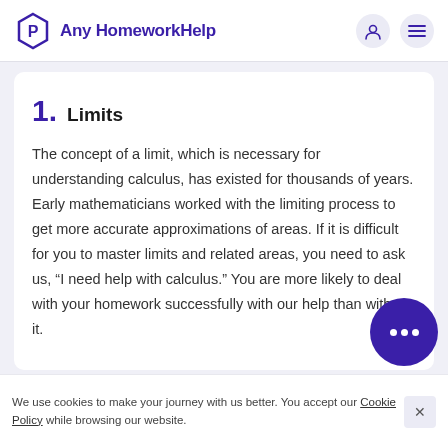Any HomeworkHelp
1. Limits
The concept of a limit, which is necessary for understanding calculus, has existed for thousands of years. Early mathematicians worked with the limiting process to get more accurate approximations of areas. If it is difficult for you to master limits and related areas, you need to ask us, “I need help with calculus.” You are more likely to deal with your homework successfully with our help than without it.
We use cookies to make your journey with us better. You accept our Cookie Policy while browsing our website.